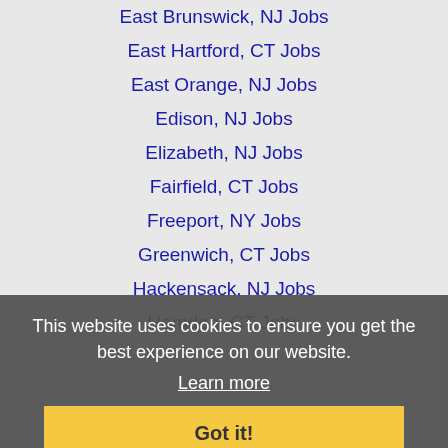East Brunswick, NJ Jobs
East Hartford, CT Jobs
East Orange, NJ Jobs
Edison, NJ Jobs
Elizabeth, NJ Jobs
Fairfield, CT Jobs
Freeport, NY Jobs
Greenwich, CT Jobs
Hackensack, NJ Jobs
Hamden, CT Jobs
Hamilton, NJ Jobs
Hempstead, NY Jobs
Hicksville, NY Jobs
Hoboken, NJ Jobs
Irvington, NJ Jobs
Jersey City, NJ Jobs
Lakewood, NJ Jobs
This website uses cookies to ensure you get the best experience on our website.
Learn more
Got it!